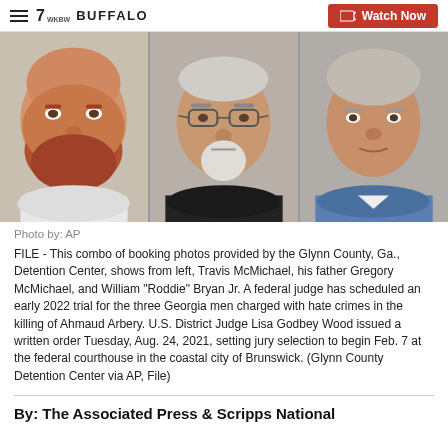7 WKBW Buffalo | Watch Now
[Figure (photo): Three booking photos side by side from the Glynn County, Ga., Detention Center, showing (left to right) Travis McMichael, Gregory McMichael, and William 'Roddie' Bryan Jr.]
Photo by: AP
FILE - This combo of booking photos provided by the Glynn County, Ga., Detention Center, shows from left, Travis McMichael, his father Gregory McMichael, and William "Roddie" Bryan Jr. A federal judge has scheduled an early 2022 trial for the three Georgia men charged with hate crimes in the killing of Ahmaud Arbery. U.S. District Judge Lisa Godbey Wood issued a written order Tuesday, Aug. 24, 2021, setting jury selection to begin Feb. 7 at the federal courthouse in the coastal city of Brunswick. (Glynn County Detention Center via AP, File)
By: The Associated Press & Scripps National